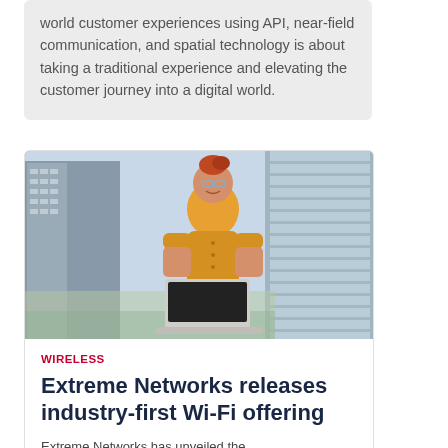world customer experiences using API, near-field communication, and spatial technology is about taking a traditional experience and elevating the customer journey into a digital world.
[Figure (photo): A smiling woman with red hair pulled up, wearing glasses and a mustard yellow shirt, working on a laptop outdoors with modern glass skyscrapers in the background.]
WIRELESS
Extreme Networks releases industry-first Wi-Fi offering
Extreme Networks has unveiled the